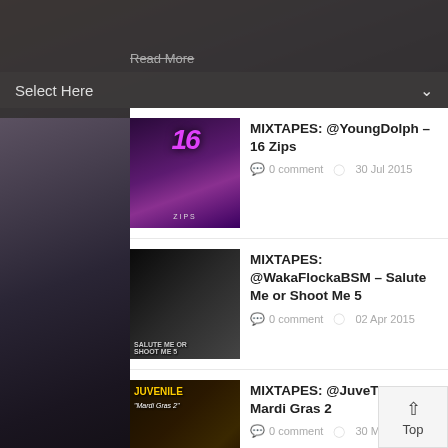Select Here
MIXTAPES: @YoungDolph – 16 Zips
0 comment  30 Jul 2015
MIXTAPES: @WakaFlockaBSM – Salute Me or Shoot Me 5
0 comment  02 Apr 2015
MIXTAPES: @JuveTheGreat - Mardi Gras 2
0 comment  30 Mar 2015
MIXTAPES: @OfficialBoosie - Every Ghetto, Every City Vol. 1
0 comment  29 Mar 2015
MIXTAPES: @TPain – The Iron Way
0 comment  29 Mar 2015